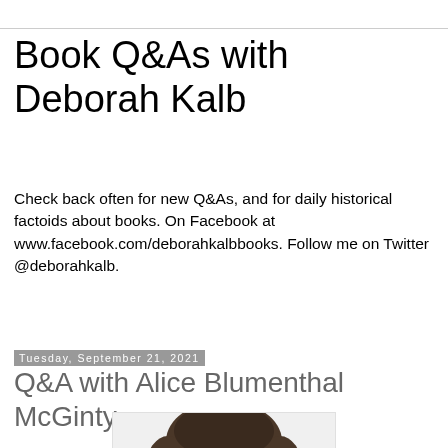Book Q&As with Deborah Kalb
Check back often for new Q&As, and for daily historical factoids about books. On Facebook at www.facebook.com/deborahkalbbooks. Follow me on Twitter @deborahkalb.
Tuesday, September 21, 2021
Q&A with Alice Blumenthal McGinty
[Figure (photo): Partial photo of Alice Blumenthal McGinty showing top of head with dark brown hair, cropped at bottom of page]